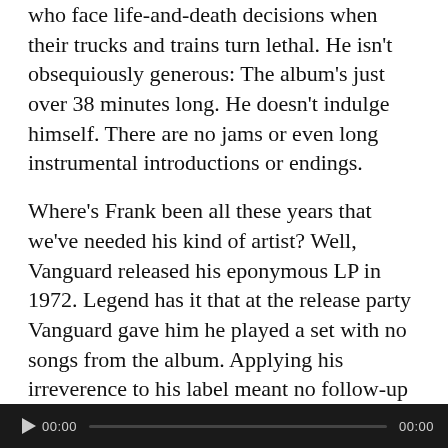who face life-and-death decisions when their trucks and trains turn lethal. He isn't obsequiously generous: The album's just over 38 minutes long. He doesn't indulge himself. There are no jams or even long instrumental introductions or endings.
Where's Frank been all these years that we've needed his kind of artist? Well, Vanguard released his eponymous LP in 1972. Legend has it that at the release party Vanguard gave him he played a set with no songs from the album. Applying his irreverence to his label meant no follow-up album. We can only hope that won't be the case this time. – David J. Cantor, Soundstage.
Sample: Red Neck, Blue Collar
[Figure (other): Audio player bar with play button and time display showing 00:00 on both sides]